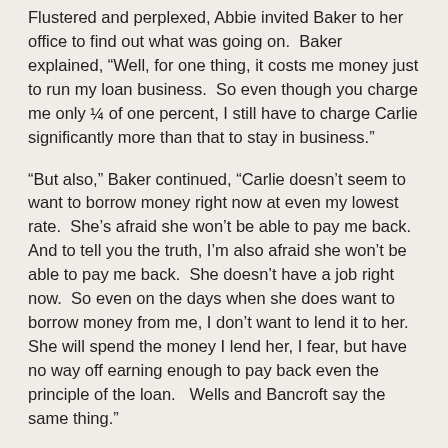Flustered and perplexed, Abbie invited Baker to her office to find out what was going on. Baker explained, "Well, for one thing, it costs me money just to run my loan business. So even though you charge me only ¼ of one percent, I still have to charge Carlie significantly more than that to stay in business."
"But also," Baker continued, "Carlie doesn't seem to want to borrow money right now at even my lowest rate. She's afraid she won't be able to pay me back. And to tell you the truth, I'm also afraid she won't be able to pay me back. She doesn't have a job right now. So even on the days when she does want to borrow money from me, I don't want to lend it to her. She will spend the money I lend her, I fear, but have no way off earning enough to pay back even the principle of the loan. Wells and Bancroft say the same thing."